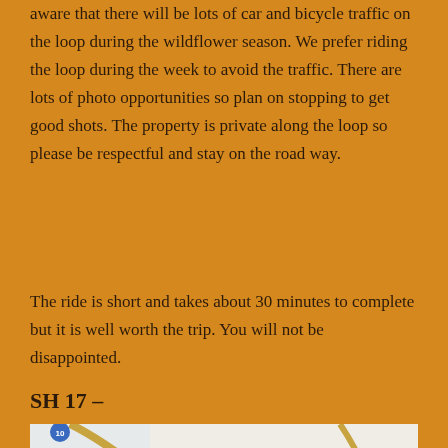aware that there will be lots of car and bicycle traffic on the loop during the wildflower season. We prefer riding the loop during the week to avoid the traffic. There are lots of photo opportunities so plan on stopping to get good shots. The property is private along the loop so please be respectful and stay on the road way.
The ride is short and takes about 30 minutes to complete but it is well worth the trip. You will not be disappointed.
SH 17 –
[Figure (map): Google Maps screenshot showing a route near SH 17 with a blue navigation line, a green marker labeled B, highway shields for routes 10 and 17, and road intersections on a light-colored map background.]